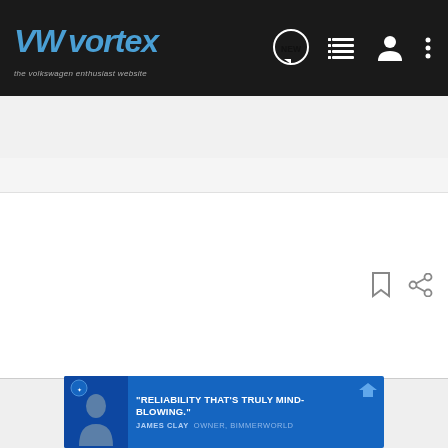VWvortex — the volkswagen enthusiast website
Search Community
Story of my S3
[Figure (screenshot): Advertisement banner: 'RELIABILITY THAT'S TRULY MIND-BLOWING.' — JAMES CLAY, OWNER, BIMMERWORLD]